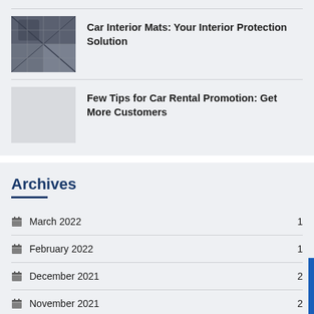[Figure (photo): Thumbnail photo of car interior floor mat]
Car Interior Mats: Your Interior Protection Solution
[Figure (photo): Placeholder thumbnail (gray) for car rental promotion article]
Few Tips for Car Rental Promotion: Get More Customers
Archives
March 2022    1
February 2022    1
December 2021    2
November 2021    2